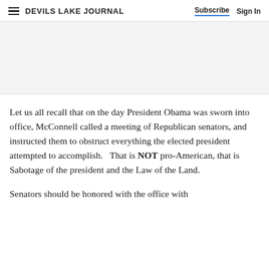DEVILS LAKE JOURNAL  Subscribe  Sign In
Let us all recall that on the day President Obama was sworn into office, McConnell called a meeting of Republican senators, and instructed them to obstruct everything the elected president attempted to accomplish.   That is NOT pro-American, that is Sabotage of the president and the Law of the Land.
Senators should be honored with the office with